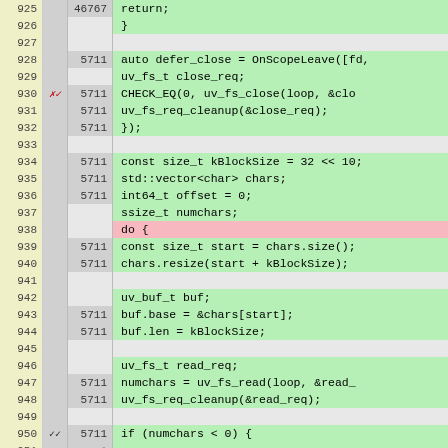| line | mark | count | code |
| --- | --- | --- | --- |
| 925 |  | 46767 | return; |
| 926 |  |  |     } |
| 927 |  |  |  |
| 928 |  | 5711 |     auto defer_close = OnScopeLeave([fd, |
| 929 |  |  |         uv_fs_t close_req; |
| 930 | ✗✓ | 5711 |         CHECK_EQ(0, uv_fs_close(loop, &clo |
| 931 |  | 5711 |         uv_fs_req_cleanup(&close_req); |
| 932 |  | 5711 |     }); |
| 933 |  |  |  |
| 934 |  | 5711 |     const size_t kBlockSize = 32 << 10; |
| 935 |  | 5711 |     std::vector<char> chars; |
| 936 |  | 5711 |     int64_t offset = 0; |
| 937 |  |  |     ssize_t numchars; |
| 938 |  |  |     do { |
| 939 |  | 5711 |         const size_t start = chars.size(); |
| 940 |  | 5711 |         chars.resize(start + kBlockSize); |
| 941 |  |  |  |
| 942 |  |  |         uv_buf_t buf; |
| 943 |  | 5711 |         buf.base = &chars[start]; |
| 944 |  | 5711 |         buf.len = kBlockSize; |
| 945 |  |  |  |
| 946 |  |  |         uv_fs_t read_req; |
| 947 |  | 5711 |         numchars = uv_fs_read(loop, &read_ |
| 948 |  | 5711 |         uv_fs_req_cleanup(&read_req); |
| 949 |  |  |  |
| 950 | ✓✓ | 5711 |         if (numchars < 0) { |
| 951 |  |  | ... |